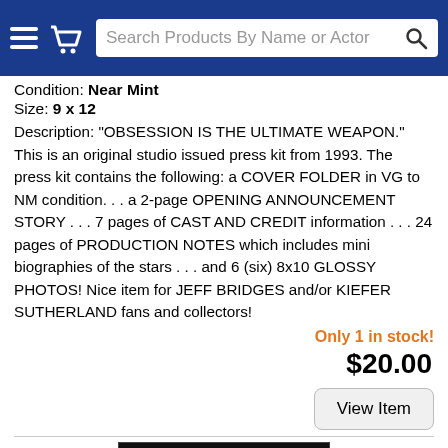Search Products By Name or Actor
Condition: Near Mint
Size: 9 x 12
Description: "OBSESSION IS THE ULTIMATE WEAPON." This is an original studio issued press kit from 1993. The press kit contains the following: a COVER FOLDER in VG to NM condition. . . a 2-page OPENING ANNOUNCEMENT STORY . . . 7 pages of CAST AND CREDIT information . . . 24 pages of PRODUCTION NOTES which includes mini biographies of the stars . . . and 6 (six) 8x10 GLOSSY PHOTOS! Nice item for JEFF BRIDGES and/or KIEFER SUTHERLAND fans and collectors!
Only 1 in stock!
$20.00
View Item
[Figure (photo): Bottom of page showing partial image thumbnail with dark background]